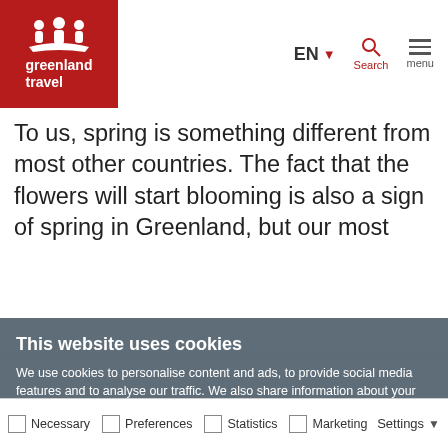greenland travel | EN | Search | menu
To us, spring is something different from most other countries. The fact that the flowers will start blooming is also a sign of spring in Greenland, but our most
This website uses cookies
We use cookies to personalise content and ads, to provide social media features and to analyse our traffic. We also share information about your use of our site with our social media, advertising and analytics partners who may combine it with other information that you've provided to them or that they've collected from your use of their services. You consent to our cookies if you continue to use our website.
Allow all cookies | Allow selection | Use necessary cookies only
Necessary | Preferences | Statistics | Marketing | Settings